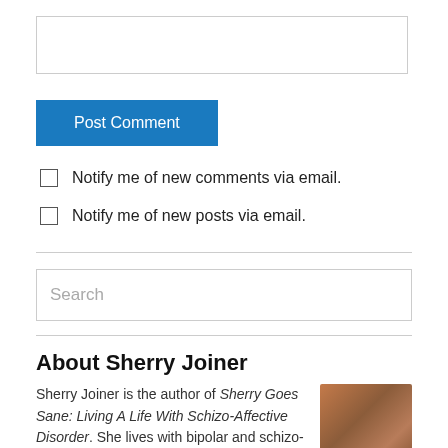[text input field]
Post Comment
Notify me of new comments via email.
Notify me of new posts via email.
Search
About Sherry Joiner
Sherry Joiner is the author of Sherry Goes Sane: Living A Life With Schizo-Affective Disorder. She lives with bipolar and schizo-affective disorders. She is
[Figure (photo): Headshot photo of Sherry Joiner, a woman with reddish-brown hair]